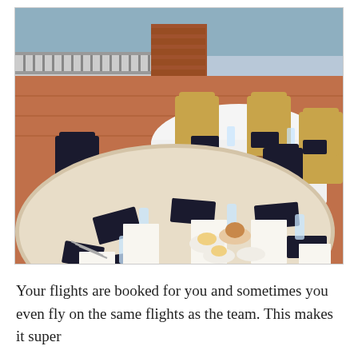[Figure (photo): Outdoor restaurant patio with round tables set for dining. White tablecloths, dark folded napkins, water glasses, menus, and small bowls with items on the table. Wicker chairs visible in background, brick pillar, waterfront view beyond a railing.]
Your flights are booked for you and sometimes you even fly on the same flights as the team. This makes it super